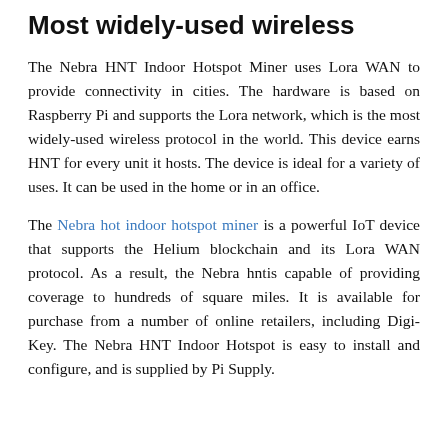Most widely-used wireless
The Nebra HNT Indoor Hotspot Miner uses Lora WAN to provide connectivity in cities. The hardware is based on Raspberry Pi and supports the Lora network, which is the most widely-used wireless protocol in the world. This device earns HNT for every unit it hosts. The device is ideal for a variety of uses. It can be used in the home or in an office.
The Nebra hot indoor hotspot miner is a powerful IoT device that supports the Helium blockchain and its Lora WAN protocol. As a result, the Nebra hntis capable of providing coverage to hundreds of square miles. It is available for purchase from a number of online retailers, including Digi-Key. The Nebra HNT Indoor Hotspot is easy to install and configure, and is supplied by Pi Supply.